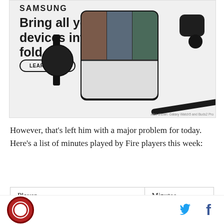[Figure (photo): Samsung advertisement banner showing Galaxy devices including a foldable phone, smartwatch, earbuds, and stylus pen with text 'SAMSUNG - Bring all your devices into the fold' and a 'LEARN MORE' button.]
However, that's left him with a major problem for today. Here's a list of minutes played by Fire players this week:
| Player | Minutes |
| --- | --- |
Logo and social icons (Twitter, Facebook)